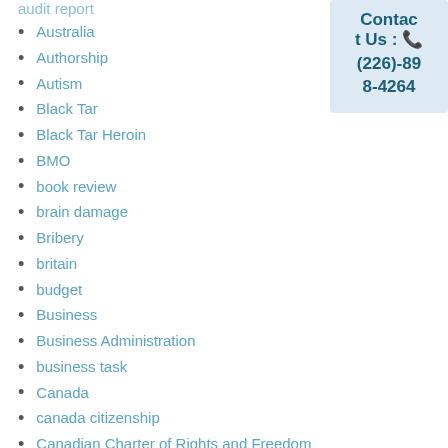Audit Report
Australia
Authorship
Autism
Black Tar
Black Tar Heroin
BMO
book review
brain damage
Bribery
britain
budget
Business
Business Administration
business task
Canada
canada citizenship
Canadian Charter of Rights and Freedom
Contact Us : (226)-898-4264